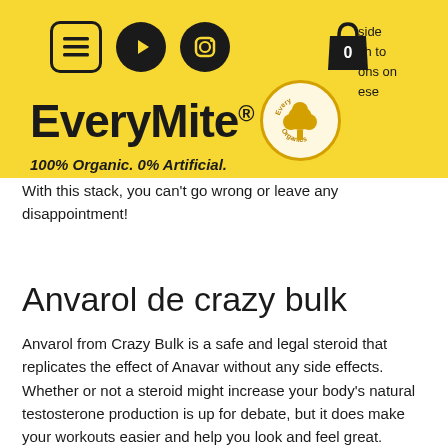[Figure (logo): EveryMite EveryOrganics logo with yellow background header, nav icons (menu, YouTube, Instagram, shopping bag), brand name EveryMite with registered trademark, circular tree logo, tagline 100% Organic. 0% Artificial.]
With this stack, you can't go wrong or leave any disappointment!
Anvarol de crazy bulk
Anvarol from Crazy Bulk is a safe and legal steroid that replicates the effect of Anavar without any side effects. Whether or not a steroid might increase your body's natural testosterone production is up for debate, but it does make your workouts easier and help you look and feel great.